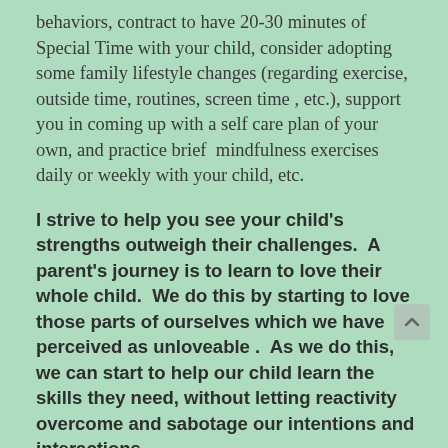behaviors, contract to have 20-30 minutes of Special Time with your child, consider adopting some family lifestyle changes (regarding exercise, outside time, routines, screen time , etc.), support you in coming up with a self care plan of your own, and practice brief  mindfulness exercises daily or weekly with your child, etc.
I strive to help you see your child's strengths outweigh their challenges.  A parent's journey is to learn to love their whole child.  We do this by starting to love those parts of ourselves which we have perceived as unloveable .  As we do this, we can start to help our child learn the skills they need, without letting reactivity overcome and sabotage our intentions and interactions.